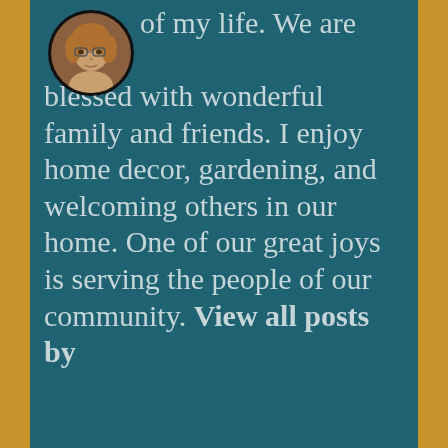[Figure (photo): Circular profile photo of a woman with blond/reddish hair and glasses, small avatar portrait.]
of my life. We are blessed with wonderful family and friends. I enjoy home decor, gardening, and welcoming others in our home. One of our great joys is serving the people of our community. View all posts by